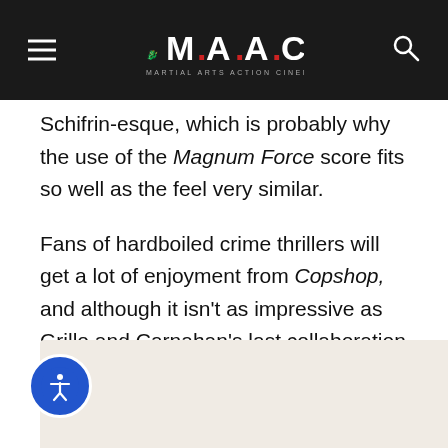M.A.A.C. — Martial Arts Action Cinema
Schifrin-esque, which is probably why the use of the Magnum Force score fits so well as the feel very similar.
Fans of hardboiled crime thrillers will get a lot of enjoyment from Copshop, and although it isn't as impressive as Grillo and Carnahan's last collaboration they still show they are an excellent team. I look forward to whatever they have coming next.
[Figure (photo): Partial view of a light-colored image at the bottom of the page, with an accessibility/wheelchair icon button overlaid in the lower left corner.]